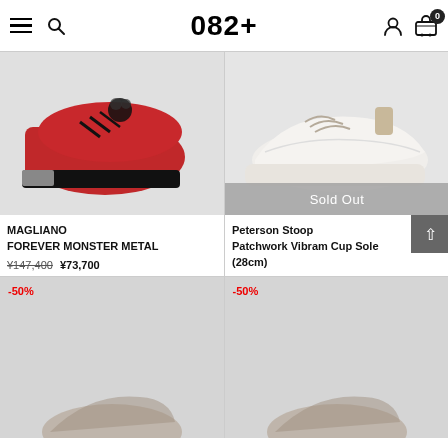082+
[Figure (photo): Red leather dress shoe (Magliano Forever Monster Metal) on gray background]
[Figure (photo): White/beige patchwork sneaker (Peterson Stoop Patchwork Vibram Cup Sole) on gray background, with Sold Out overlay]
MAGLIANO
FOREVER MONSTER METAL
¥147,400  ¥73,700
Peterson Stoop
Patchwork Vibram Cup Sole
(28cm)
[Figure (photo): Shoe product image with -50% discount badge, bottom left product]
[Figure (photo): Shoe product image with -50% discount badge, bottom right product]